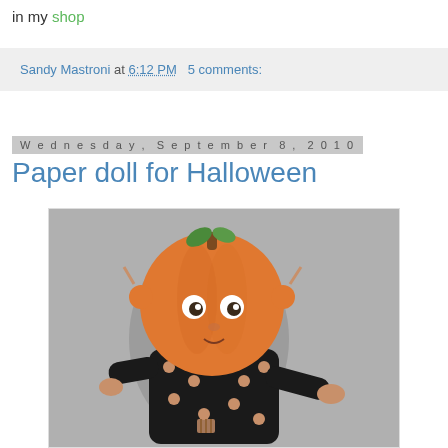in my shop
Sandy Mastroni at 6:12 PM   5 comments:
Wednesday, September 8, 2010
Paper doll for Halloween
[Figure (photo): A Halloween paper doll art piece depicting a figure with a large pumpkin head with a green stem, pigtails, and a black polka-dot dress/outfit, photographed against a gray background.]